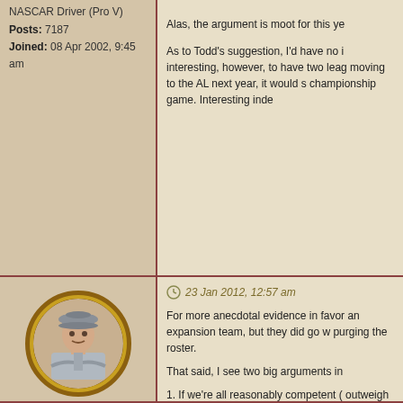NASCAR Driver (Pro V)
Posts: 7187
Joined: 08 Apr 2002, 9:45 am
Alas, the argument is moot for this ye

As to Todd's suggestion, I'd have no i interesting, however, to have two leag moving to the AL next year, it would s championship game. Interesting inde
23 Jan 2012, 12:57 am
[Figure (illustration): Portrait of a military figure in uniform with a hat, shown in an oval gold frame]
Sharur
Dignitary

Posts: 967
Joined: 30 Aug 2003, 5:17 am
For more anecdotal evidence in favor an expansion team, but they did go w purging the roster.

That said, I see two big arguments in

1. If we're all reasonably competent ( outweigh the negative value ones. I th 2. More importantly, as soon as you a every contract a team has, they will g would be fundamentally different ther renders anecdotal evidence less appl

In practice I'm sure it would be possib would end up right about an expansio